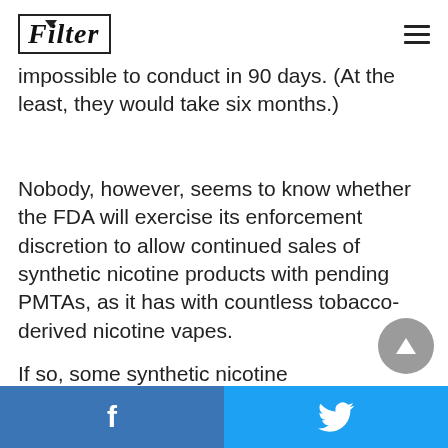Filter
impossible to conduct in 90 days. (At the least, they would take six months.)
Nobody, however, seems to know whether the FDA will exercise its enforcement discretion to allow continued sales of synthetic nicotine products with pending PMTAs, as it has with countless tobacco-derived nicotine vapes.
If so, some synthetic nicotine
Facebook | Twitter